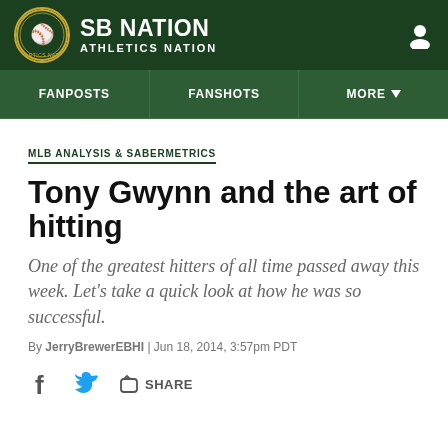SB NATION | ATHLETICS NATION
FANPOSTS | FANSHOTS | MORE
MLB ANALYSIS & SABERMETRICS
Tony Gwynn and the art of hitting
One of the greatest hitters of all time passed away this week. Let's take a quick look at how he was so successful.
By JerryBrewerEBHI | Jun 18, 2014, 3:57pm PDT